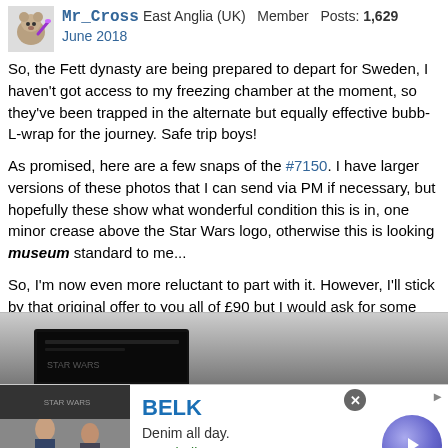Mr_Cross  East Anglia (UK)  Member  Posts: 1,629
June 2018
So, the Fett dynasty are being prepared to depart for Sweden, I haven't got access to my freezing chamber at the moment, so they've been trapped in the alternate but equally effective bubb-L-wrap for the journey. Safe trip boys!
As promised, here are a few snaps of the #7150. I have larger versions of these photos that I can send via PM if necessary, but hopefully these show what wonderful condition this is in, one minor crease above the Star Wars logo, otherwise this is looking museum standard to me...
So, I'm now even more reluctant to part with it. However, I'll stick by that original offer to you all of £90 but I would ask for some contribution towards a better postage method. Royal Mail Special delivery (medium sized parcel) is £11 and I'd be willing to go 'halves'.
[Figure (photo): Partial photo of a dark box/item, cropped at bottom of post body area]
[Figure (other): BELK advertisement banner: logo, 'Denim all day.', 'www.belk.com', fashion model images, blue arrow button, close X button]